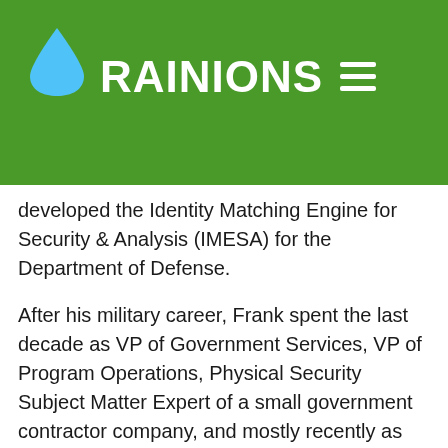RAINIONS
developed the Identity Matching Engine for Security & Analysis (IMESA) for the Department of Defense.
After his military career, Frank spent the last decade as VP of Government Services, VP of Program Operations, Physical Security Subject Matter Expert of a small government contractor company, and mostly recently as the Strategic Physical Security Planning Supervisor, Program Manager, and Senior Analyst at Colorado Springs Utilities.  At CSU, Frank oversaw Physical Security and Critical Infrastructure Protection (CIP) for over 310 Sites/Assets.
Frank and his wife, Clotilde, have two children and live in Colorado Springs, Colorado.  He enjoys riding his Harley Davidson motorcycle, is an avid traveler, and